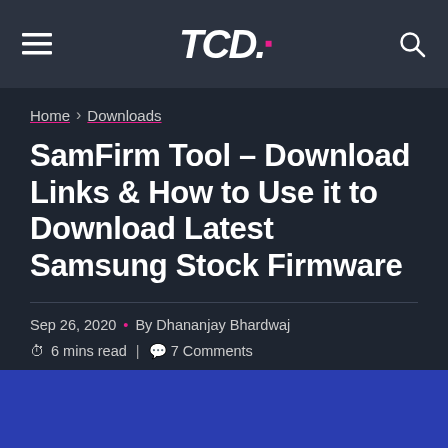TCD.
Home › Downloads
SamFirm Tool – Download Links & How to Use it to Download Latest Samsung Stock Firmware
Sep 26, 2020 • By Dhananjay Bhardwaj
⏱ 6 mins read | 💬 7 Comments
[Figure (photo): Blue banner image for article]